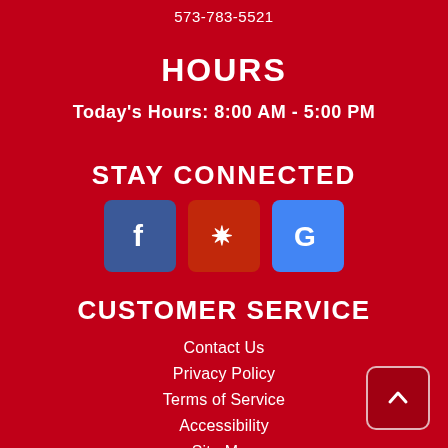573-783-5521
HOURS
Today's Hours: 8:00 AM - 5:00 PM
STAY CONNECTED
[Figure (other): Social media icons: Facebook (blue), Yelp (red), Google (blue)]
CUSTOMER SERVICE
Contact Us
Privacy Policy
Terms of Service
Accessibility
Site Map
Do Not Sell My Personal Information